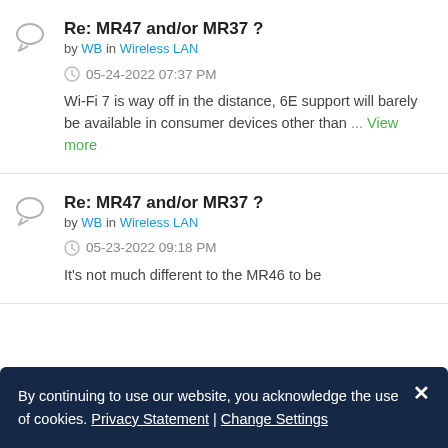Re: MR47 and/or MR37 ?
by WB in Wireless LAN
05-24-2022 07:37 PM
Wi-Fi 7 is way off in the distance, 6E support will barely be available in consumer devices other than ... View more
Re: MR47 and/or MR37 ?
by WB in Wireless LAN
05-23-2022 09:18 PM
It's not much different to the MR46 to be
By continuing to use our website, you acknowledge the use of cookies. Privacy Statement | Change Settings